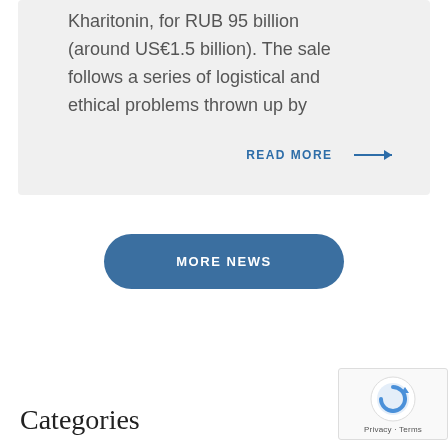Kharitonin, for RUB 95 billion (around US€1.5 billion). The sale follows a series of logistical and ethical problems thrown up by
READ MORE →
MORE NEWS
Categories